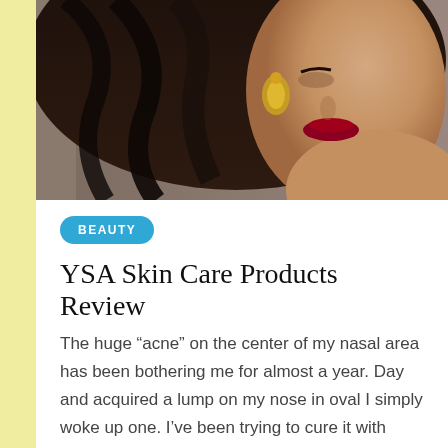[Figure (photo): Close-up portrait of a glamorous woman with dark wavy hair, gold jewellery earrings, and dark red lips, shown from the side/three-quarter angle against a grey background.]
BEAUTY
YSA Skin Care Products Review
The huge “acne” on the center of my nasal area has been bothering me for almost a year. Day and acquired a lump on my nose in oval I simply woke up one. I’ve been trying to cure it with almost all acne removal beauty kits and creams (from affordable and even those